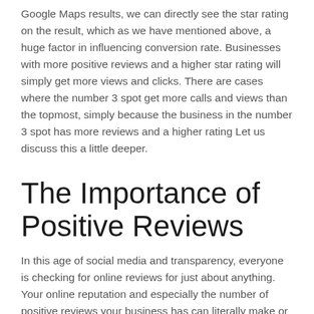Google Maps results, we can directly see the star rating on the result, which as we have mentioned above, a huge factor in influencing conversion rate. Businesses with more positive reviews and a higher star rating will simply get more views and clicks. There are cases where the number 3 spot get more calls and views than the topmost, simply because the business in the number 3 spot has more reviews and a higher rating Let us discuss this a little deeper.
The Importance of Positive Reviews
In this age of social media and transparency, everyone is checking for online reviews for just about anything. Your online reputation and especially the number of positive reviews your business has can literally make or break your business.